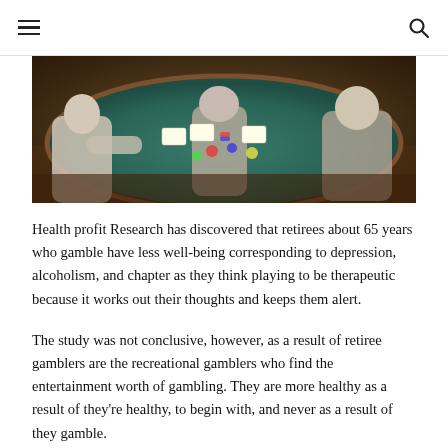≡  🔍
[Figure (photo): Overhead view of people seated around a casino card table with green felt, playing cards and chips visible, shot in dim warm lighting.]
Health profit Research has discovered that retirees about 65 years who gamble have less well-being corresponding to depression, alcoholism, and chapter as they think playing to be therapeutic because it works out their thoughts and keeps them alert.
The study was not conclusive, however, as a result of retiree gamblers are the recreational gamblers who find the entertainment worth of gambling. They are more healthy as a result of they're healthy, to begin with, and never as a result of they gamble.